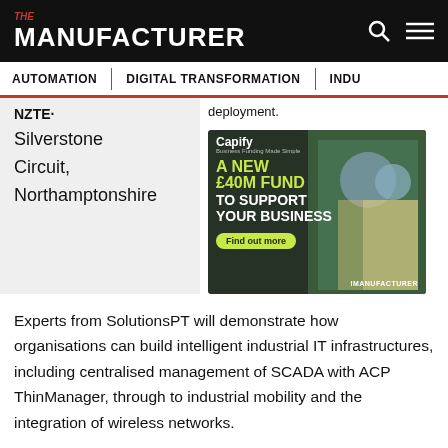THE MANUFACTURER
AUTOMATION | DIGITAL TRANSFORMATION | INDU
Silverstone Circuit, Northamptonshire
deployment.
[Figure (photo): Capify advertisement: A NEW £40M FUND TO SUPPORT YOUR BUSINESS. Find out more. Shows workers in hard hats. IMANUFACTURER branding.]
Experts from SolutionsPT will demonstrate how organisations can build intelligent industrial IT infrastructures, including centralised management of SCADA with ACP ThinManager, through to industrial mobility and the integration of wireless networks.